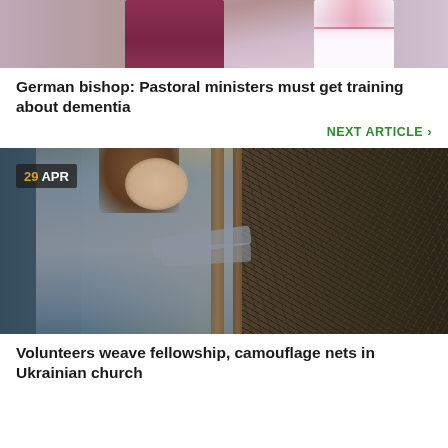[Figure (photo): Two figures in liturgical vestments, one in purple/red bishop robes and one in white with red trim, photographed from torso down]
German bishop: Pastoral ministers must get training about dementia
NEXT ARTICLE ›
[Figure (photo): A woman with a ponytail wearing a gray sweatshirt weaving or working on a large camouflage net in what appears to be a church or community hall. Date badge shows 29 APR.]
Volunteers weave fellowship, camouflage nets in Ukrainian church